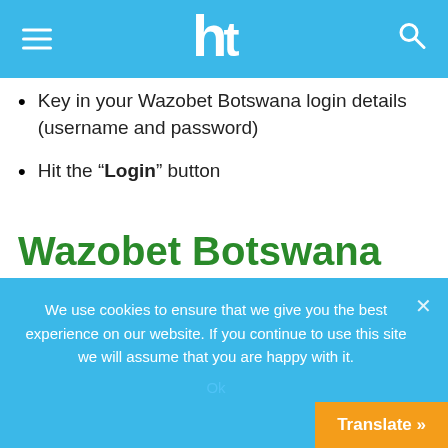Navigation header with hamburger menu, logo, and search icon
Key in your Wazobet Botswana login details (username and password)
Hit the “Login” button
Wazobet Botswana welcome bonus
Wazobet offers a very appealing welcome bonus to its new sign-ups. One is given a 110% on the first
We use cookies to ensure that we give you the best experience on our website. If you continue to use this site we will assume that you are happy with it.